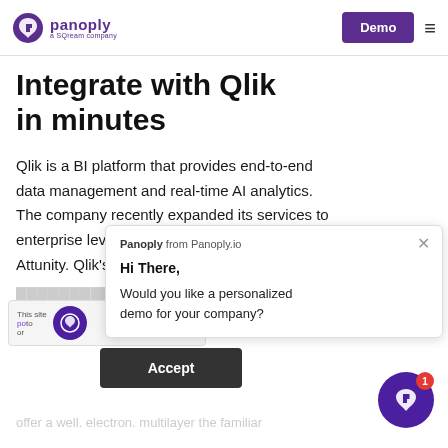Panoply — a SQream company | Demo
Integrate with Qlik in minutes
Qlik is a BI platform that provides end-to-end data management and real-time AI analytics. The company recently expanded its services to enterprise level d... Attunity. Qlik's fe...
[Figure (screenshot): Chat popup overlay from Panoply from Panoply.io: 'Hi There, Would you like a personalized demo for your company?']
Accept
This site ... po...to ... or ...
[Figure (logo): Panoply chat widget button with notification badge showing 1]